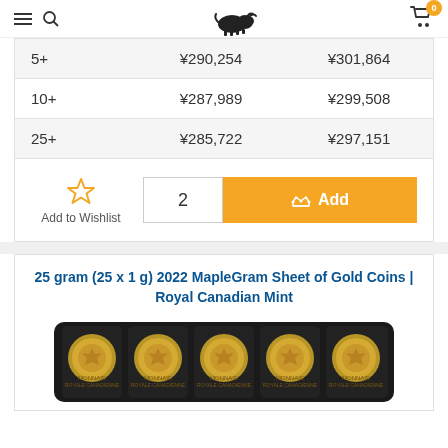Navigation bar with hamburger menu, search, bull logo, and cart (0)
| Qty | Price | Price2 |
| --- | --- | --- |
| 5+ | ¥290,254 | ¥301,864 |
| 10+ | ¥287,989 | ¥299,508 |
| 25+ | ¥285,722 | ¥297,151 |
Add to Wishlist | Quantity: 2 | Add button
25 gram (25 x 1 g) 2022 MapleGram Sheet of Gold Coins | Royal Canadian Mint
[Figure (photo): Five Royal Canadian Mint MapleGram 1g gold coins in dark packaging arranged in a row]